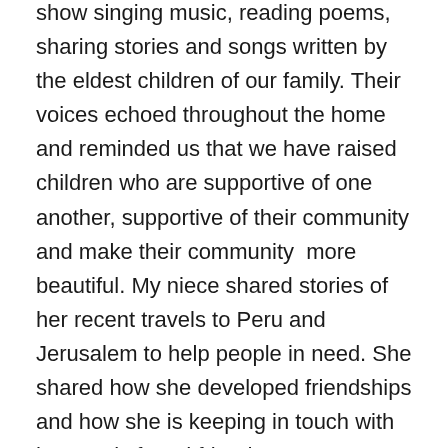show singing music, reading poems, sharing stories and songs written by the eldest children of our family. Their voices echoed throughout the home and reminded us that we have raised children who are supportive of one another, supportive of their community and make their community  more beautiful. My niece shared stories of her recent travels to Peru and Jerusalem to help people in need. She shared how she developed friendships and how she is keeping in touch with her newly found friends. We were so amazed at the talents and character each of our children has developed. It's humbling to see the same principles of volunteering and desire to help our community being developed in the hearts of our children.
We also had a potluck. I love potlucks because they allow everyone to be very creative and showcase the cooking